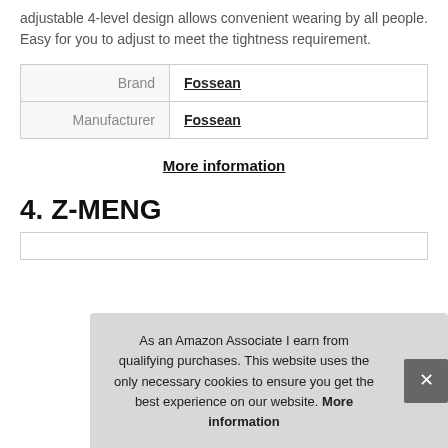adjustable 4-level design allows convenient wearing by all people. Easy for you to adjust to meet the tightness requirement.
|  |  |
| --- | --- |
| Brand | Fossean |
| Manufacturer | Fossean |
More information
4. Z-MENG
As an Amazon Associate I earn from qualifying purchases. This website uses the only necessary cookies to ensure you get the best experience on our website. More information